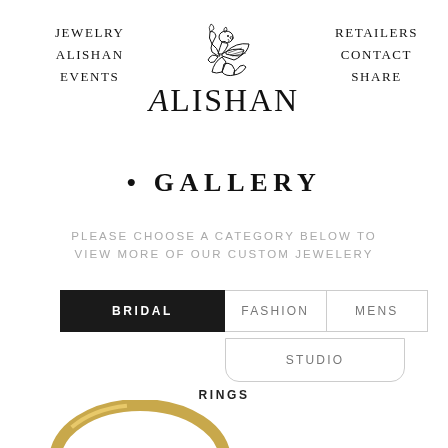JEWELRY | ALISHAN | EVENTS | RETAILERS | CONTACT | SHARE
[Figure (logo): Alishan Gallery logo with griffin illustration above the text ALISHAN and partially visible text GALLERY]
PLEASE CHOOSE A CATEGORY BELOW TO VIEW MORE OF OUR CUSTOM JEWELERY
BRIDAL
FASHION
MENS
STUDIO
RINGS
[Figure (photo): Gold ring photographed from above, partially visible at bottom of page]